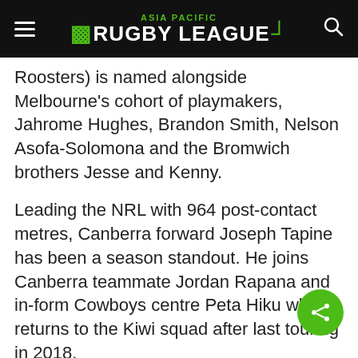ASIA PACIFIC RUGBY LEAGUE
Roosters) is named alongside Melbourne's cohort of playmakers, Jahrome Hughes, Brandon Smith, Nelson Asofa-Solomona and the Bromwich brothers Jesse and Kenny.
Leading the NRL with 964 post-contact metres, Canberra forward Joseph Tapine has been a season standout. He joins Canberra teammate Jordan Rapana and in-form Cowboys centre Peta Hiku who returns to the Kiwi squad after last touring in 2018.
“I know how much the black and white jersey means to these players,” said Maguire.
“To finally return home after two year and play for your country in front of fans and whānau, this Test will be